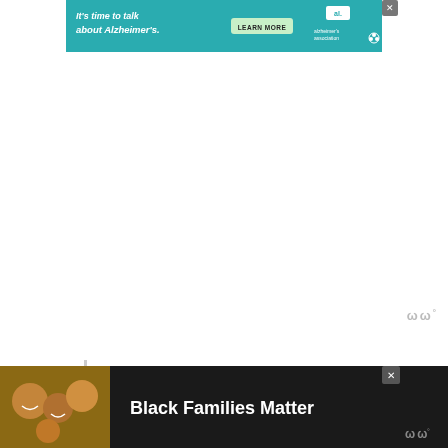[Figure (screenshot): Alzheimer's Association advertisement banner with teal background. Text: 'It's time to talk about Alzheimer's.' with a 'LEARN MORE' button and Alzheimer's Association logo with close X button.]
ωω°
Related: 8 Best MCAT
[Figure (screenshot): Bottom advertisement bar with dark background showing a photo of smiling Black family members and text 'Black Families Matter' with a close X button and watermark logo.]